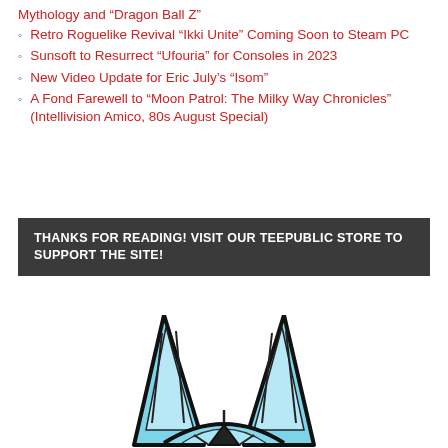Mythology and “Dragon Ball Z”
Retro Roguelike Revival “Ikki Unite” Coming Soon to Steam PC
Sunsoft to Resurrect “Ufouria” for Consoles in 2023
New Video Update for Eric July’s “Isom”
A Fond Farewell to “Moon Patrol: The Milky Way Chronicles” (Intellivision Amico, 80s August Special)
THANKS FOR READING! VISIT OUR TEEPUBLIC STORE TO SUPPORT THE SITE!
[Figure (logo): Stylized cat or animal head logo with pointed ears, blue coloring and black outlines, partially visible at the bottom of the page]